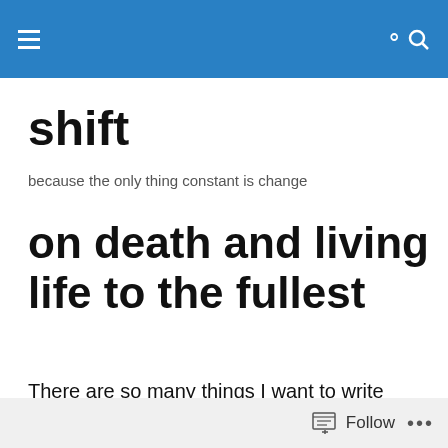[navigation header with menu and search icons]
shift
because the only thing constant is change
on death and living life to the fullest
There are so many things I want to write about right now. I have a long list of recent experiences to share, not to mention wanting to get back to things related to my time in Asia. But, sometimes, life gets in the way. We wish life was all sunshine and roses, but, unfortunately, it doesn't
Follow ...